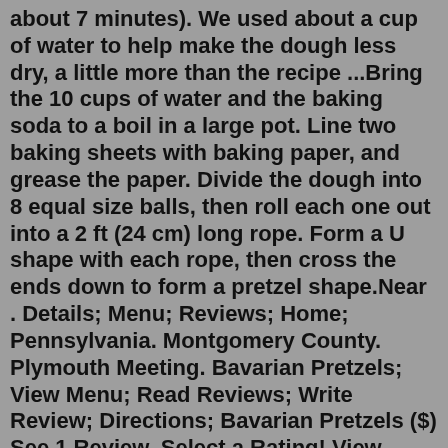about 7 minutes). We used about a cup of water to help make the dough less dry, a little more than the recipe ...Bring the 10 cups of water and the baking soda to a boil in a large pot. Line two baking sheets with baking paper, and grease the paper. Divide the dough into 8 equal size balls, then roll each one out into a 2 ft (24 cm) long rope. Form a U shape with each rope, then cross the ends down to form a pretzel shape.Near . Details; Menu; Reviews; Home; Pennsylvania. Montgomery County. Plymouth Meeting. Bavarian Pretzels; View Menu; Read Reviews; Write Review; Directions; Bavarian Pretzels ($) See 1 Review. Select a Rating! View Menu. 500 W Germantown Pike Plymouth Meeting, PA 19462 (Map & Directions) Phone: (610) 940-3633. Reported as permanently closed.Come visit the bakery and take some of these treats home with you. We make fresh german breads, pretzels rolls & other treats daily.Nationwide shipping & free same day local shipping available! https://germandeli.com/ordering-information/ If you need to ensure product